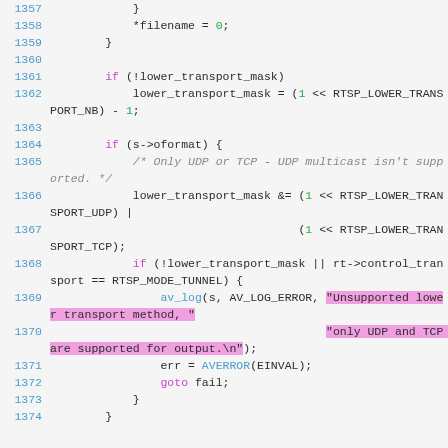[Figure (screenshot): Source code listing lines 1357-1374 in C, showing RTSP lower transport mask logic with syntax highlighting. Line numbers in blue on left, keywords in purple, numbers in green, string literals highlighted in pink/magenta.]